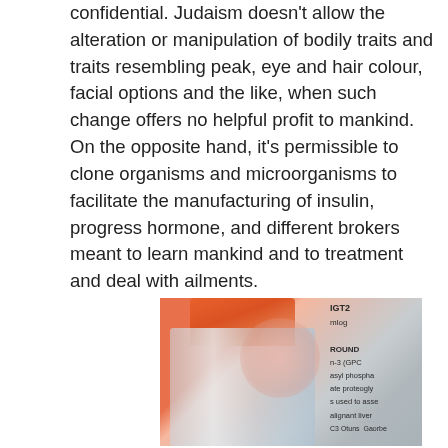confidential. Judaism doesn't allow the alteration or manipulation of bodily traits and traits resembling peak, eye and hair colour, facial options and the like, when such change offers no helpful profit to mankind. On the opposite hand, it's permissible to clone organisms and microorganisms to facilitate the manufacturing of insulin, progress hormone, and different brokers meant to learn mankind and to treatment and deal with ailments.
[Figure (photo): A blurry close-up photo of a laboratory test tube or vial with an orange cap, with a partially visible label showing text fragments including 'ROUND', 'n-3 (GPC', 'asyl phospha', 'ate proteogly', 's used to asse', 'alignant liver', 'C3 Otuns', 'Gaorbe']